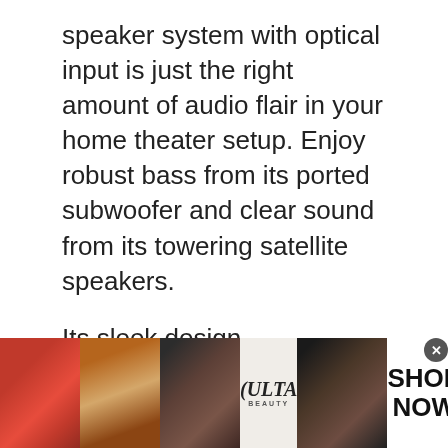speaker system with optical input is just the right amount of audio flair in your home theater setup. Enjoy robust bass from its ported subwoofer and clear sound from its towering satellite speakers.
Its sleek design complements any décor, as well as any budget, for a truly knockout listening experience.
Experience your favorite movies
[Figure (photo): Ulta Beauty advertisement banner showing close-up makeup images (lips, brush, eye, Ulta logo, eye) with SHOP NOW call to action]